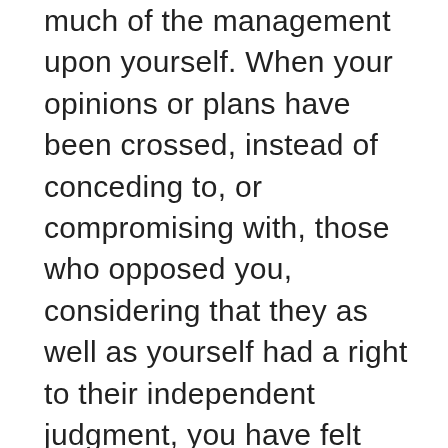much of the management upon yourself. When your opinions or plans have been crossed, instead of conceding to, or compromising with, those who opposed you, considering that they as well as yourself had a right to their independent judgment, you have felt vexed and hurt. You could not endure that your family should call your plans in question or offer suggestions differing from your opinions. In consequence of this unpleasant state of affairs your family have usually submitted their wishes to yours, and allowed you to have your own way, in order to preserve harmony at home. Therefore there has been in your family much long-suffering, much patient indulgence of your whims. This